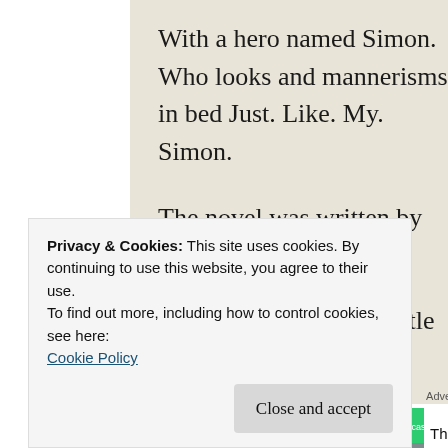With a hero named Simon. Who looks and mannerisms in bed Just. Like. My. Simon.
The novel was written by my fellow autho
And now I want to throttle her.
After I maim him first.
[Figure (infographic): Podcast app advertisement with colorful tiled logo icon. Text reads: The go-to app for podcast lovers.]
Privacy & Cookies: This site uses cookies. By continuing to use this website, you agree to their use.
To find out more, including how to control cookies, see here:
Cookie Policy
Close and accept